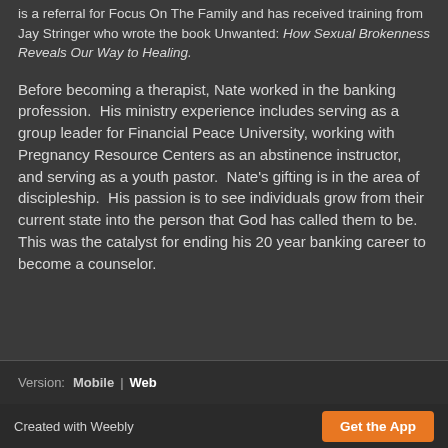is a referral for Focus On The Family and has received training from Jay Stringer who wrote the book Unwanted: How Sexual Brokenness Reveals Our Way to Healing.
Before becoming a therapist, Nate worked in the banking profession.  His ministry experience includes serving as a group leader for Financial Peace University, working with Pregnancy Resource Centers as an abstinence instructor, and serving as a youth pastor.  Nate's gifting is in the area of discipleship.  His passion is to see individuals grow from their current state into the person that God has called them to be.  This was the catalyst for ending his 20 year banking career to become a counselor.
Version:  Mobile  |  Web
Created with Weebly    Get the App